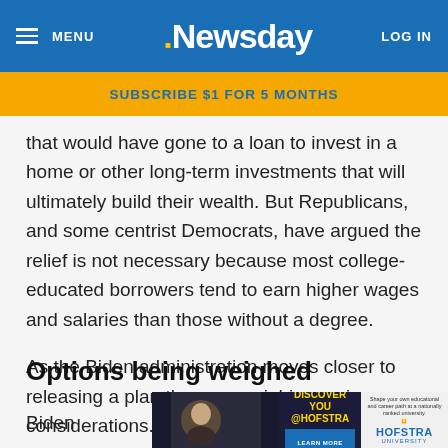MENU · Newsday · LOG IN
SUBSCRIBE $1 FOR 5 MONTHS
that would have gone to a loan to invest in a home or other long-term investments that will ultimately build their wealth. But Republicans, and some centrist Democrats, have argued the relief is not necessary because most college-educated borrowers tend to earn higher wages and salaries than those without a degree.
As the Biden administration moves closer to releasing a plan they are weighing various considerations.
Options being weighed
[Figure (photo): Hofstra University advertisement banner showing a student with text 'DISCOVER YOU @HOFSTRA']
Biden